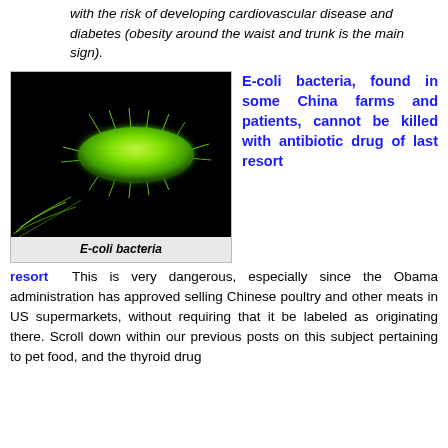with the risk of developing cardiovascular disease and diabetes (obesity around the waist and trunk is the main sign).
[Figure (photo): Microscopic illustration of E-coli bacteria glowing green against a black background, showing the rod-shaped body with flagella.]
E-coli bacteria
E-coli bacteria, found in some China farms and patients, cannot be killed with antibiotic drug of last resort
This is very dangerous, especially since the Obama administration has approved selling Chinese poultry and other meats in US supermarkets, without requiring that it be labeled as originating there. Scroll down within our previous posts on this subject pertaining to pet food, and the thyroid drug